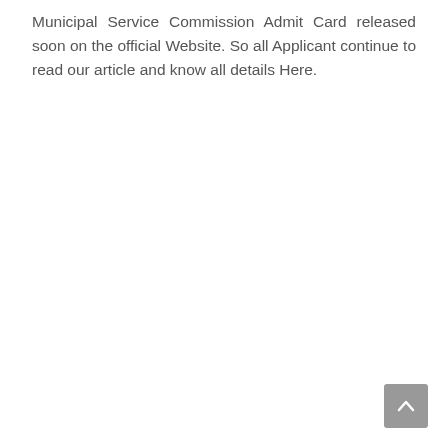Municipal Service Commission Admit Card released soon on the official Website. So all Applicant continue to read our article and know all details Here.
[Figure (other): Scroll-to-top button in bottom-right corner, gray rounded square with upward chevron arrow]